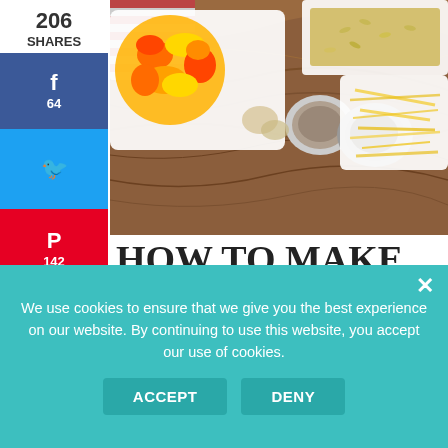[Figure (photo): Overhead/flat-lay photo of stuffed pepper bake ingredients on a wooden surface: chopped colorful bell peppers in a white dish, shredded cheese in a white dish, a small bowl of spices, a bowl of dark liquid/sauce, and grains/rice on a striped cloth.]
206
SHARES
f
64
🐦
P
142
✉
HOW TO MAKE STUFFED PEPPER BAKE
INSTRUCTIONS
Click link here
First, preheat
We use cookies to ensure that we give you the best experience on our website. By continuing to use this website, you accept our use of cookies.
ACCEPT
DENY